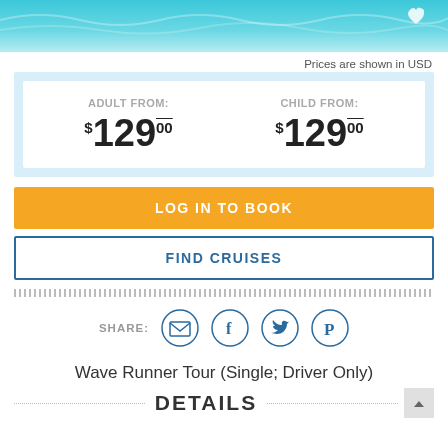[Figure (photo): Ocean/water background header image with teal/turquoise color]
Prices are shown in USD
ADULT FROM: $129.00 | CHILD FROM: $129.00
LOG IN TO BOOK
FIND CRUISES
[Figure (infographic): Share icons: email, facebook, twitter, pinterest]
Wave Runner Tour (Single; Driver Only)
DETAILS